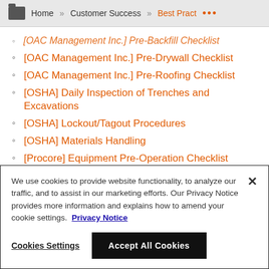Home » Customer Success » Best Pract ...
[OAC Management Inc.] Pre-Backfill Checklist
[OAC Management Inc.] Pre-Drywall Checklist
[OAC Management Inc.] Pre-Roofing Checklist
[OSHA] Daily Inspection of Trenches and Excavations
[OSHA] Lockout/Tagout Procedures
[OSHA] Materials Handling
[Procore] Equipment Pre-Operation Checklist
We use cookies to provide website functionality, to analyze our traffic, and to assist in our marketing efforts. Our Privacy Notice provides more information and explains how to amend your cookie settings. Privacy Notice